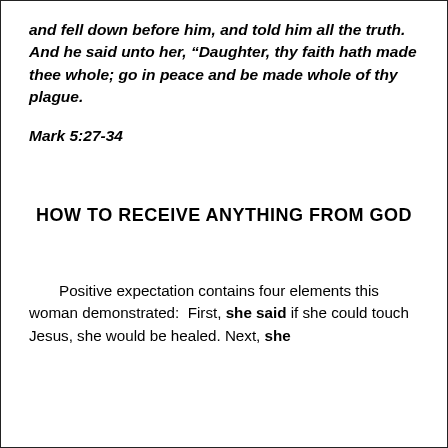and fell down before him, and told him all the truth.  And he said unto her, “Daughter, thy faith hath made thee whole; go in peace and be made whole of thy plague.
Mark 5:27-34
HOW TO RECEIVE ANYTHING FROM GOD
Positive expectation contains four elements this woman demonstrated:  First, she said if she could touch Jesus, she would be healed. Next, she